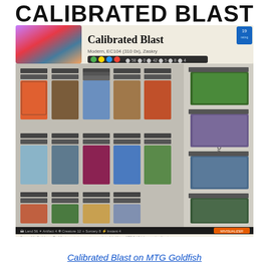CALIBRATED BLAST
[Figure (screenshot): Screenshot of MTG Goldfish deck visualizer showing the Calibrated Blast Modern deck (EC104, 310 0x, Zaskry). Shows a grid of Magic: The Gathering card images arranged in the main deck and sideboard columns, with mana symbols and deck stats at top and bottom.]
Calibrated Blast on MTG Goldfish